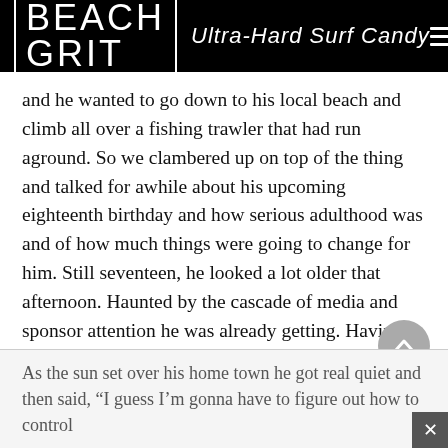BEACH GRIT Ultra-Hard Surf Candy
and he wanted to go down to his local beach and climb all over a fishing trawler that had run aground. So we clambered up on top of the thing and talked for awhile about his upcoming eighteenth birthday and how serious adulthood was and of how much things were going to change for him. Still seventeen, he looked a lot older that afternoon. Haunted by the cascade of media and sponsor attention he was already getting. Having to change his family's home phone number all the time because of the fan girls that were stalking him. Shit like that. A universe of adult concerns and expectations orbiting around him like space trash.
As the sun set over his home town he got real quiet and then said, “I guess I’m gonna have to figure out how to control